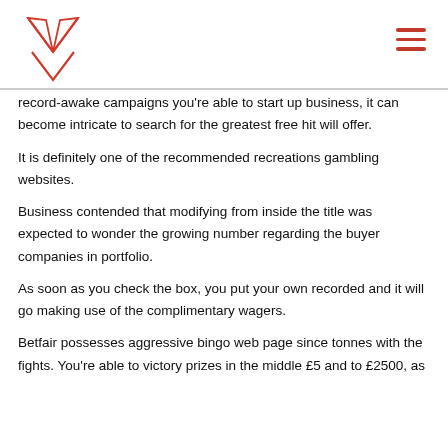[Fox logo + hamburger menu]
record-awake campaigns you’re able to start up business, it can become intricate to search for the greatest free hit will offer.
It is definitely one of the recommended recreations gambling websites.
Business contended that modifying from inside the title was expected to wonder the growing number regarding the buyer companies in portfolio.
As soon as you check the box, you put your own recorded and it will go making use of the complimentary wagers.
Betfair possesses aggressive bingo web page since tonnes with the fights. You’re able to victory prizes in the middle £5 and to £2500, as